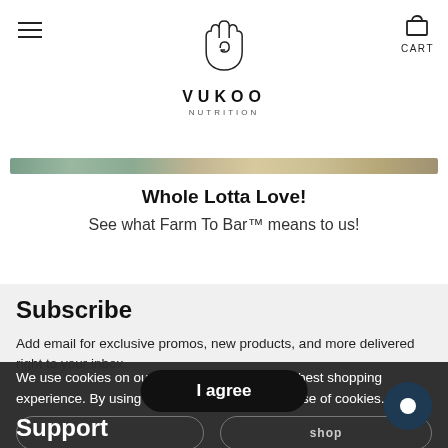VUKOO NUTRITION
[Figure (illustration): Vukoo Nutrition logo — stylized hand icon above the text VUKOO NUTRITION]
[Figure (photo): Horizontal banner strip with muted earthy tones — greens, tans, blues]
Whole Lotta Love!
See what Farm To Bar™ means to us!
Subscribe
Add email for exclusive promos, new products, and more delivered right to your inbox.
We use cookies on our website to give you the best shopping experience. By using this site, you agree to its use of cookies.
I agree
Support